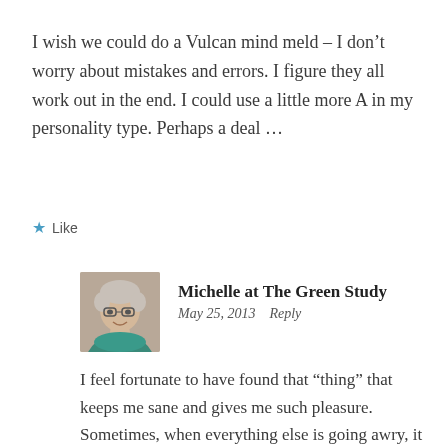I wish we could do a Vulcan mind meld – I don’t worry about mistakes and errors. I figure they all work out in the end. I could use a little more A in my personality type. Perhaps a deal …
★ Like
[Figure (photo): Profile photo of a woman with short grey hair and glasses, smiling, wearing a teal scarf]
Michelle at The Green Study
May 25, 2013   Reply
I feel fortunate to have found that “thing” that keeps me sane and gives me such pleasure. Sometimes, when everything else is going awry, it hits me that I haven’t been doing much of what helps keep me anchored.